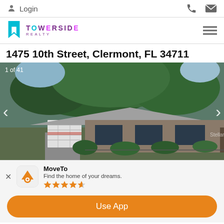Login
[Figure (logo): Towerside Realty logo with cyan bookmark icon and purple text]
1475 10th Street, Clermont, FL 34711
[Figure (photo): Exterior photo of a single-story ranch home with white garage door, brick facade, and large trees. Photo label: 1 of 41. Stellar MLS watermark visible.]
MoveTo
Find the home of your dreams.
★★★★☆
Use App